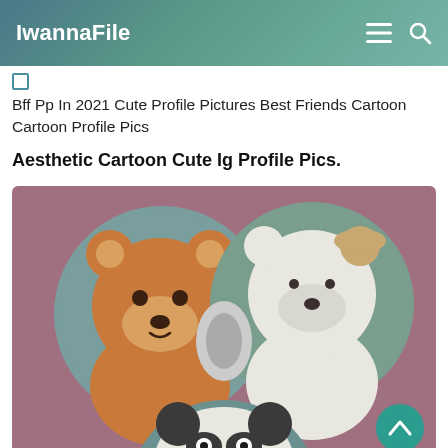IwannaFile
Bff Pp In 2021 Cute Profile Pictures Best Friends Cartoon Cartoon Profile Pics
Aesthetic Cartoon Cute Ig Profile Pics.
[Figure (illustration): Cartoon illustration of three bear characters (We Bare Bears) shown as circular profile pictures on a mauve/dusty rose background. Top left circle shows a brown grizzly bear sitting. Top right circle shows a white polar bear sitting. Bottom center shows a panda bear peeking up, partially visible. A teal scroll-to-top arrow button is visible in the bottom right corner.]